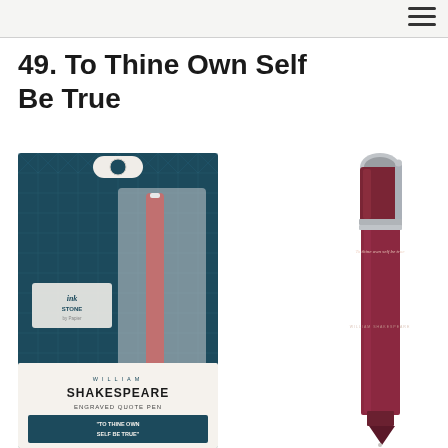49. To Thine Own Self Be True
[Figure (photo): Product photo of a William Shakespeare Engraved Quote Pen in its packaging box. The dark teal box with geometric pattern shows the pen inscribed with 'To thine own self be true' and reads: WILLIAM SHAKESPEARE ENGRAVED QUOTE PEN 'TO THINE OWN SELF BE TRUE'. The ink stone brand logo is visible on the box.]
[Figure (photo): Close-up photo of a dark red/burgundy pen with silver clip and cap, engraved with cursive text 'To thine own self be true' and 'WILLIAM SHAKESPEARE' on the barrel.]